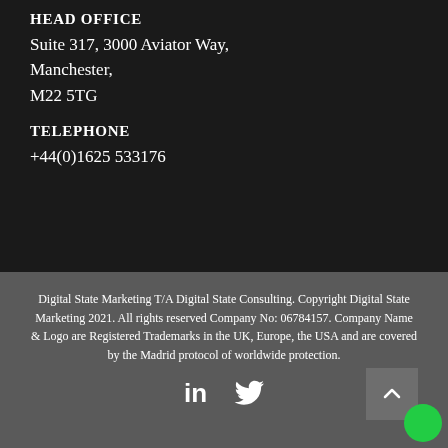HEAD OFFICE
Suite 317, 3000 Aviator Way,
Manchester,
M22 5TG
TELEPHONE
+44(0)1625 533176
Digital State Marketing T/A Digital State Consulting. Copyright Digital State Marketing 2021. All rights reserved Company No: 06784157. Company Name & Logo are Registered Trademarks in the UK, Europe, the USA and are covered by the Madrid protocol of worldwide protection.